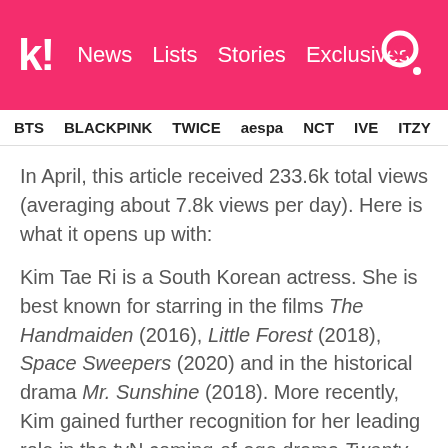k! News Lists Stories Exclusives
BTS BLACKPINK TWICE aespa NCT IVE ITZY
In April, this article received 233.6k total views (averaging about 7.8k views per day). Here is what it opens up with:
Kim Tae Ri is a South Korean actress. She is best known for starring in the films The Handmaiden (2016), Little Forest (2018), Space Sweepers (2020) and in the historical drama Mr. Sunshine (2018). More recently, Kim gained further recognition for her leading role in the tvN coming-of-age drama Twenty-Five Twenty-One (2022).
10. V (BTS)